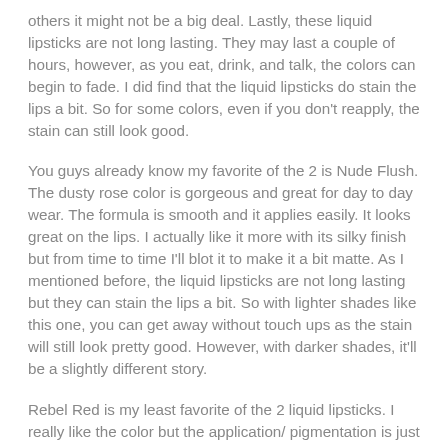others it might not be a big deal. Lastly, these liquid lipsticks are not long lasting. They may last a couple of hours, however, as you eat, drink, and talk, the colors can begin to fade. I did find that the liquid lipsticks do stain the lips a bit. So for some colors, even if you don't reapply, the stain can still look good.
You guys already know my favorite of the 2 is Nude Flush. The dusty rose color is gorgeous and great for day to day wear. The formula is smooth and it applies easily. It looks great on the lips. I actually like it more with its silky finish but from time to time I'll blot it to make it a bit matte. As I mentioned before, the liquid lipsticks are not long lasting but they can stain the lips a bit. So with lighter shades like this one, you can get away without touch ups as the stain will still look pretty good. However, with darker shades, it'll be a slightly different story.
Rebel Red is my least favorite of the 2 liquid lipsticks. I really like the color but the application/ pigmentation is just off. The pigmentation for Rebel Red is really uneven, making application difficult. I do have to apply multiple coats to try and get the even look. However, this liquid lipsticks doesn't layer well when it comes to multiple coats. The product will